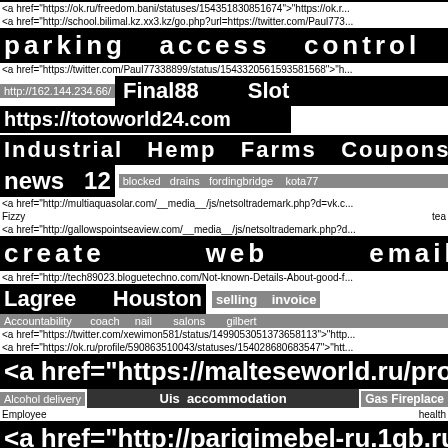<a href="https://ok.ru/freedom.bani/statuses/154351830851674">"https://ok.r...
<a href="http://school.bilimal.kz.xx3.kz/go.php?url=https://twitter.com/Paul773...
parking   access   control   systems
<a href="https://twitter.com/Paul77338899/status/1543320561593581568">"h...
http://162.144.234.66/   Final88   Slot
https://totoworld24.com
Industrial   Hemp   Farms   Coupons
news   12   blocked   drains   fordingbridge   kota77
<a href="http://multiaquasolar.com/__media__/js/netsoltrademark.php?d=vk.c...
Fizzy   tea
<a href="http://gallowspointseaview.com/__media__/js/netsoltrademark.php?d...
create   web   email
<a href="http://tech89023.bloguetechno.com/Not-known-Details-About-good-f...
Lagree   Houston   selling   invoice
Accountability   coach   nail   salons   gilbert
<a href="https://twitter.com/xewimon581/status/1499053051373658113">"htt...
<a href="https://ok.ru/profile/590863510043/statuses/154028680683547">"htt...
<a href="https://malteseworld.ru/proble...
Alcohol delivery   Uis accommodation   Gas Fireplace
Employee   health
<a href="http://parigimebel-ru.1gb.ru/us...